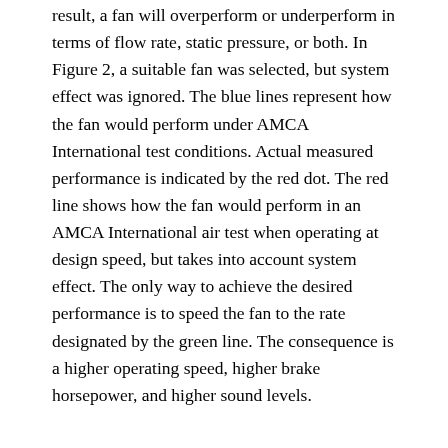result, a fan will overperform or underperform in terms of flow rate, static pressure, or both. In Figure 2, a suitable fan was selected, but system effect was ignored. The blue lines represent how the fan would perform under AMCA International test conditions. Actual measured performance is indicated by the red dot. The red line shows how the fan would perform in an AMCA International air test when operating at design speed, but takes into account system effect. The only way to achieve the desired performance is to speed the fan to the rate designated by the green line. The consequence is a higher operating speed, higher brake horsepower, and higher sound levels.
Propeller Fan & Tube Axial Fan Selection